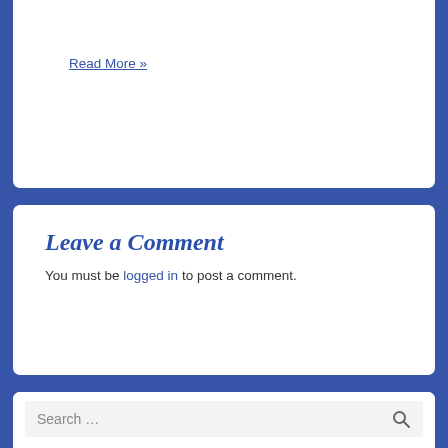Read More »
Leave a Comment
You must be logged in to post a comment.
Search …
Recent Posts
Downtown Disney Hotels